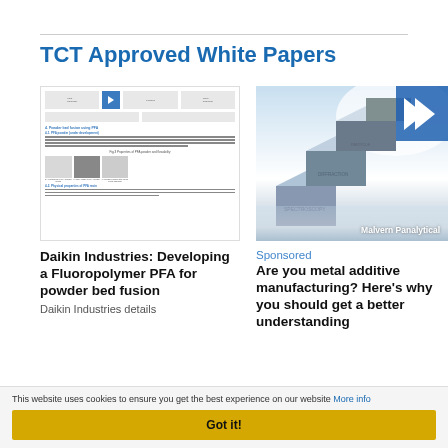TCT Approved White Papers
[Figure (screenshot): Thumbnail of a white paper document showing diagrams and text about PFA powder properties for powder bed fusion, with a blue arrow graphic at top right.]
Daikin Industries: Developing a Fluoropolymer PFA for powder bed fusion
Daikin Industries details
[Figure (photo): Metallic 3D pyramid/staircase structure with 'Malvern Panalytical' branding and a blue arrow logo overlay at top right.]
Sponsored
Are you metal additive manufacturing? Here's why you should get a better understanding
This website uses cookies to ensure you get the best experience on our website More info
Got it!